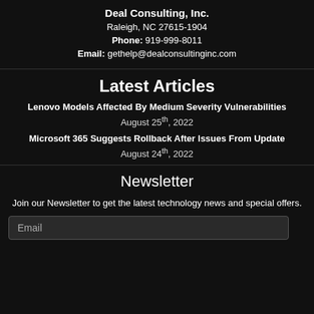Deal Consulting, Inc.
Raleigh, NC 27615-1904
Phone: 919-999-8011
Email: gethelp@dealconsultinginc.com
Latest Articles
Lenovo Models Affected By Medium Severity Vulnerabilities
August 25th, 2022
Microsoft 365 Suggests Rollback After Issues From Update
August 24th, 2022
Newsletter
Join our Newsletter to get the latest technology news and special offers.
Email